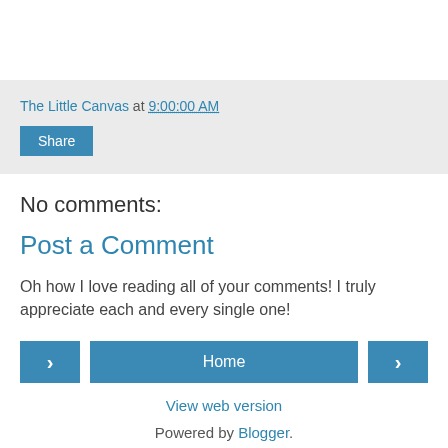The Little Canvas at 9:00:00 AM
Share
No comments:
Post a Comment
Oh how I love reading all of your comments! I truly appreciate each and every single one!
‹
Home
›
View web version
Powered by Blogger.